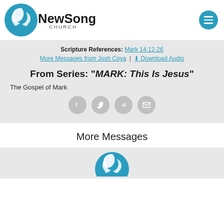[Figure (logo): NewSong Church logo with circular blue icon and text 'NewSong CHURCH', plus a teal circular hamburger menu button on the right]
Scripture References: Mark 14:12-26
More Messages from Josh Coya | ⬇ Download Audio
From Series: "MARK: This Is Jesus"
The Gospel of Mark
[Figure (infographic): Four circular social share icons: Facebook, Twitter, Share/Forward, Email]
More Messages
[Figure (logo): Partial NewSong Church logo icon visible at bottom of page in gray panel]